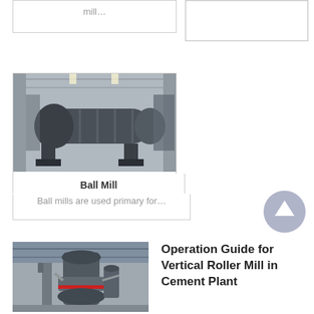mill…
[Figure (photo): Partial card top-right placeholder (empty white card)]
[Figure (photo): Industrial ball mill machine photographed in a factory/warehouse setting, showing a large horizontal cylindrical grinding mill]
Ball Mill
Ball mills are used primary for…
[Figure (other): Circular up arrow button icon in muted purple/gray color]
[Figure (photo): Vertical roller mill in a cement plant, showing large cylindrical grinding equipment with industrial structures and steel framework]
Operation Guide for Vertical Roller Mill in Cement Plant